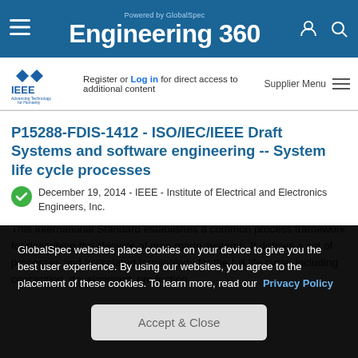Powered by GlobalSpec Engineering 360
[Figure (logo): IEEE logo - Advancing Technology for Humanity]
Register or Log in for direct access to additional content   Supplier Menu
P15288-FDIS-1412 - ISO/IEC/IEEE Draft Systems and software engineering -- System life cycle processes
December 19, 2014 - IEEE - Institute of Electrical and Electronics Engineers, Inc.
This International Standard establishes a common process framework for describing the lifecycle of man-made systems. It defines a set of processes and associated terminology for the full life cycle, including conception, development, production
GlobalSpec websites place cookies on your device to give you the best user experience. By using our websites, you agree to the placement of these cookies. To learn more, read our Privacy Policy
Accept & Close